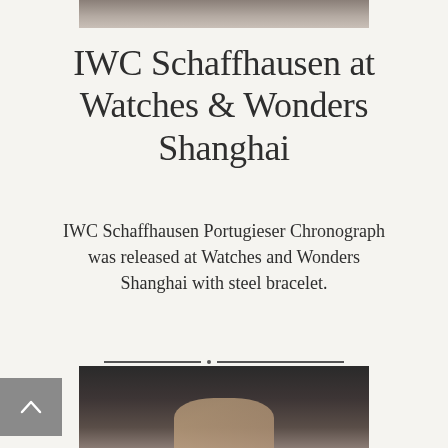[Figure (photo): Partial photo at the top of the page, showing a cropped image, possibly a person or watch, with muted warm tones]
IWC Schaffhausen at Watches & Wonders Shanghai
IWC Schaffhausen Portugieser Chronograph was released at Watches and Wonders Shanghai with steel bracelet.
[Figure (photo): Partial photo at the bottom of the page, showing a person's hand against a dark background, likely wearing a watch]